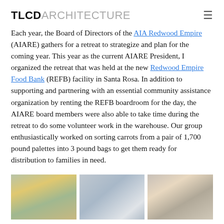TLCDARCHITECTURE
Each year, the Board of Directors of the AIA Redwood Empire (AIARE) gathers for a retreat to strategize and plan for the coming year. This year as the current AIARE President, I organized the retreat that was held at the new Redwood Empire Food Bank (REFB) facility in Santa Rosa. In addition to supporting and partnering with an essential community assistance organization by renting the REFB boardroom for the day, the AIARE board members were also able to take time during the retreat to do some volunteer work in the warehouse. Our group enthusiastically worked on sorting carrots from a pair of 1,700 pound palettes into 3 pound bags to get them ready for distribution to families in need.
[Figure (photo): Two men smiling, one wearing a yellow jacket, indoor setting with warm lighting]
[Figure (photo): Group of people working in a warehouse or large indoor facility]
[Figure (photo): People seated around a table working together indoors]